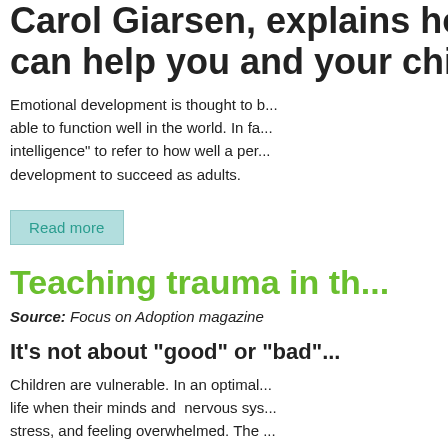Carol Giarsen, explains how play can help you and your child.
Emotional development is thought to be essential to being able to function well in the world. In fact, experts use the term "emotional intelligence" to refer to how well a person has used emotional development to succeed as adults.
Read more
Teaching trauma in th...
Source: Focus on Adoption magazine
It's not about "good" or "bad"
Children are vulnerable. In an optimal life when their minds and nervous systems stress, and feeling overwhelmed. The we live in the "real" world, so children the optimal; the result can be childhood...